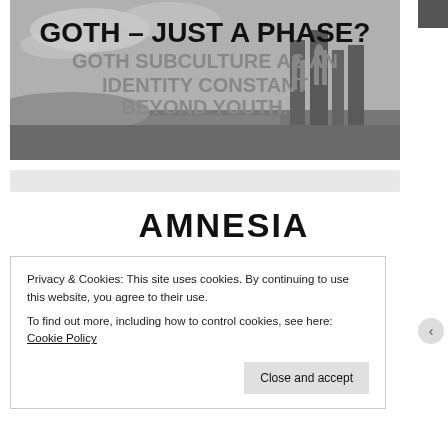[Figure (photo): Black and white banner image showing gothic castle ruins (Whitby Abbey) in background with text overlay. Title reads 'GOTH – JUST A PHASE?' and subtitle 'GOTH SUBCULTURE AS AN IDENTITY CONSTANT BEYOND YOUTH.']
AMNESIA
Privacy & Cookies: This site uses cookies. By continuing to use this website, you agree to their use.
To find out more, including how to control cookies, see here: Cookie Policy